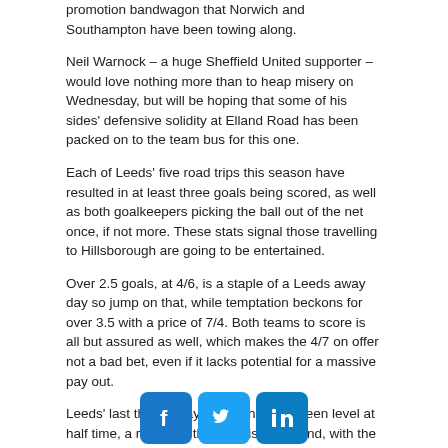promotion bandwagon that Norwich and Southampton have been towing along.
Neil Warnock – a huge Sheffield United supporter – would love nothing more than to heap misery on Wednesday, but will be hoping that some of his sides' defensive solidity at Elland Road has been packed on to the team bus for this one.
Each of Leeds' five road trips this season have resulted in at least three goals being scored, as well as both goalkeepers picking the ball out of the net once, if not more. These stats signal those travelling to Hillsborough are going to be entertained.
Over 2.5 goals, at 4/6, is a staple of a Leeds away day so jump on that, while temptation beckons for over 3.5 with a price of 7/4. Both teams to score is all but assured as well, which makes the 4/7 on offer not a bad bet, even if it lacks potential for a massive pay out.
Leeds' last three away games have all been level at half time, a repeat of this here is at 5/4 and, with the Owls desperate to avoid defeat, a cagey first 45 minutes is easy to envisage.
All odds and markets accurate as of publication's time and date
[Figure (other): Social media icons: Facebook, Twitter, LinkedIn]